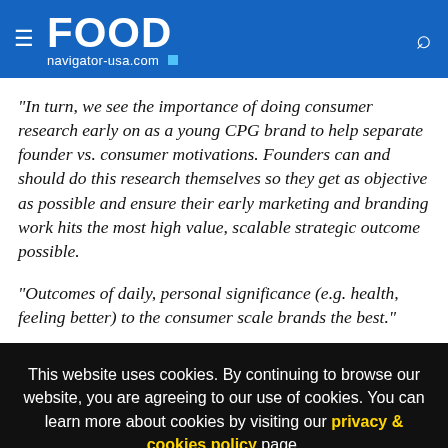FOOD navigator-usa.com
"In turn, we see the importance of doing consumer research early on as a young CPG brand to help separate founder vs. consumer motivations. Founders can and should do this research themselves so they get as objective as possible and ensure their early marketing and branding work hits the most high value, scalable strategic outcome possible.
"Outcomes of daily, personal significance (e.g. health, feeling better) to the consumer scale brands the best."
This website uses cookies. By continuing to browse our website, you are agreeing to our use of cookies. You can learn more about cookies by visiting our privacy & cookies policy page.